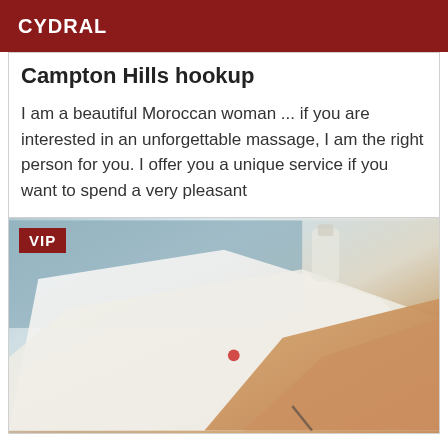CYDRAL
Campton Hills hookup
I am a beautiful Moroccan woman ... if you are interested in an unforgettable massage, I am the right person for you. I offer you a unique service if you want to spend a very pleasant
[Figure (photo): Photo with VIP badge in top left corner, showing a close-up image with light blue, white, and warm skin-tone colors.]